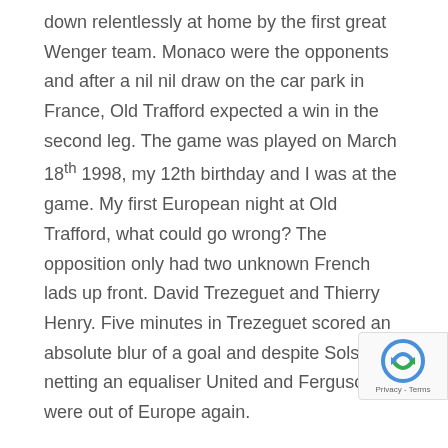down relentlessly at home by the first great Wenger team. Monaco were the opponents and after a nil nil draw on the car park in France, Old Trafford expected a win in the second leg. The game was played on March 18th 1998, my 12th birthday and I was at the game. My first European night at Old Trafford, what could go wrong? The opposition only had two unknown French lads up front. David Trezeguet and Thierry Henry. Five minutes in Trezeguet scored an absolute blur of a goal and despite Solskjaer netting an equaliser United and Ferguson were out of Europe again.
https://m.youtube.com/watch?v=1W30Aaqk6As
Juventus meanwhile waltzed passed Dynamo Kiev and then Monaco to reach a third Champions League final in a